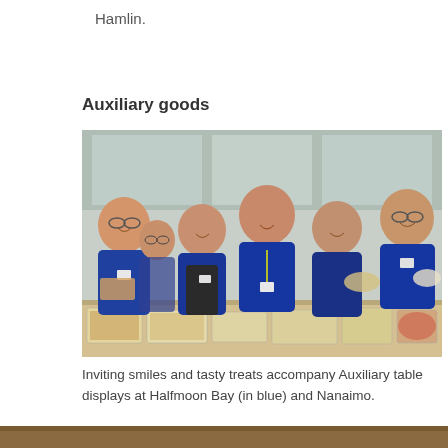Hamlin.
Auxiliary goods
[Figure (photo): Five women in blue polo shirts smiling behind a table covered with baked goods in clear containers, posing together at a hospital auxiliary goods display.]
Inviting smiles and tasty treats accompany Auxiliary table displays at Halfmoon Bay (in blue) and Nanaimo.